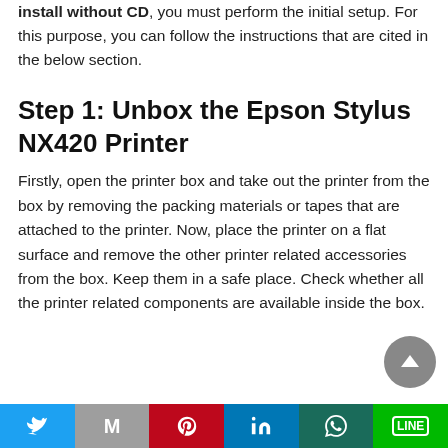install without CD, you must perform the initial setup. For this purpose, you can follow the instructions that are cited in the below section.
Step 1: Unbox the Epson Stylus NX420 Printer
Firstly, open the printer box and take out the printer from the box by removing the packing materials or tapes that are attached to the printer. Now, place the printer on a flat surface and remove the other printer related accessories from the box. Keep them in a safe place. Check whether all the printer related components are available inside the box.